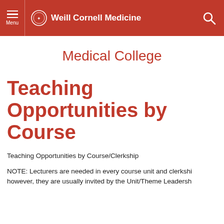Weill Cornell Medicine
Medical College
Teaching Opportunities by Course
Teaching Opportunities by Course/Clerkship
NOTE:  Lecturers are needed in every course unit and clerkship; however, they are usually invited by the Unit/Theme Leadership